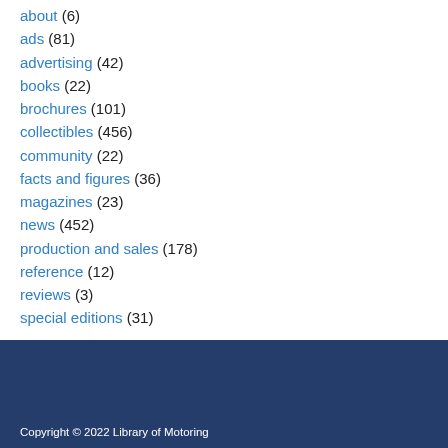about (6)
ads (81)
advertising (42)
books (22)
brochures (101)
collectibles (456)
community (22)
facts and figures (36)
magazines (23)
news (452)
production and sales (178)
reference (12)
reviews (3)
special editions (31)
Copyright © 2022 Library of Motoring